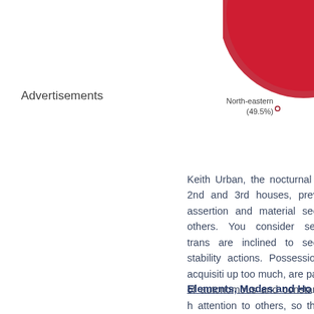[Figure (pie-chart): Partial pie chart showing North-eastern (49.5%) slice in red/crimson, partially cropped at top-right corner]
Advertisements
Keith Urban, the nocturnal N 2nd and 3rd houses, preva assertion and material secu others. You consider self-trans are inclined to seek stability actions. Possession, acquisiti up too much, are part of autonomous and constant, h attention to others, so that yo
Elements, Modes and Ho